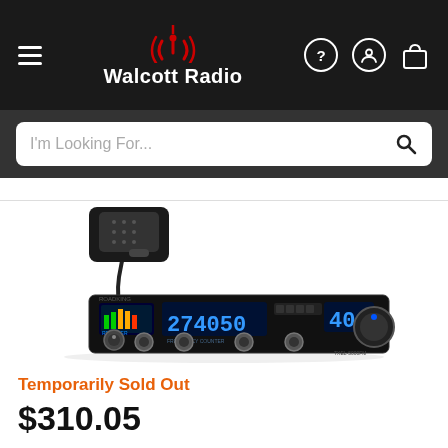[Figure (logo): Walcott Radio logo with red radio wave icon and white bold text 'Walcott Radio' on dark background header]
I'm Looking For...
[Figure (photo): CB radio transceiver (Roadking brand) with handheld microphone, blue LED frequency display showing 27.4050, channel 40 indicator, and multiple control knobs on a black chassis]
Temporarily Sold Out
$310.05